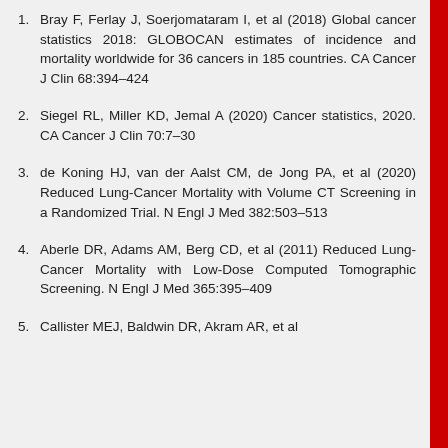1. Bray F, Ferlay J, Soerjomataram I, et al (2018) Global cancer statistics 2018: GLOBOCAN estimates of incidence and mortality worldwide for 36 cancers in 185 countries. CA Cancer J Clin 68:394–424
2. Siegel RL, Miller KD, Jemal A (2020) Cancer statistics, 2020. CA Cancer J Clin 70:7–30
3. de Koning HJ, van der Aalst CM, de Jong PA, et al (2020) Reduced Lung-Cancer Mortality with Volume CT Screening in a Randomized Trial. N Engl J Med 382:503–513
4. Aberle DR, Adams AM, Berg CD, et al (2011) Reduced Lung-Cancer Mortality with Low-Dose Computed Tomographic Screening. N Engl J Med 365:395–409
5. Callister MEJ, Baldwin DR, Akram AR, et al (2015) British thoracic society guidelines for the investigation and management of pulmonary nodules...